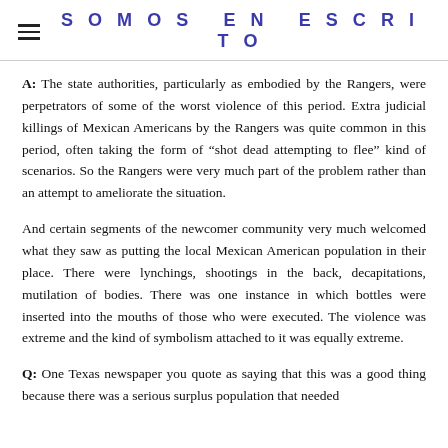SOMOS EN ESCRITO
A: The state authorities, particularly as embodied by the Rangers, were perpetrators of some of the worst violence of this period. Extra judicial killings of Mexican Americans by the Rangers was quite common in this period, often taking the form of “shot dead attempting to flee” kind of scenarios. So the Rangers were very much part of the problem rather than an attempt to ameliorate the situation.
And certain segments of the newcomer community very much welcomed what they saw as putting the local Mexican American population in their place. There were lynchings, shootings in the back, decapitations, mutilation of bodies. There was one instance in which bottles were inserted into the mouths of those who were executed. The violence was extreme and the kind of symbolism attached to it was equally extreme.
Q: One Texas newspaper you quote as saying that this was a good thing because there was a serious surplus population that needed